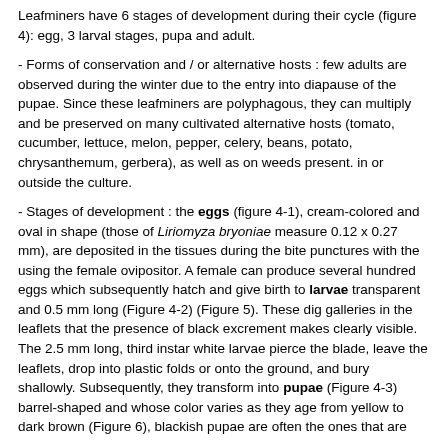Leafminers have 6 stages of development during their cycle (figure 4): egg, 3 larval stages, pupa and adult.
- Forms of conservation and / or alternative hosts : few adults are observed during the winter due to the entry into diapause of the pupae. Since these leafminers are polyphagous, they can multiply and be preserved on many cultivated alternative hosts (tomato, cucumber, lettuce, melon, pepper, celery, beans, potato, chrysanthemum, gerbera), as well as on weeds present. in or outside the culture.
- Stages of development : the eggs (figure 4-1), cream-colored and oval in shape (those of Liriomyza bryoniae measure 0.12 x 0.27 mm), are deposited in the tissues during the bite punctures with the using the female ovipositor. A female can produce several hundred eggs which subsequently hatch and give birth to larvae transparent and 0.5 mm long (Figure 4-2) (Figure 5). These dig galleries in the leaflets that the presence of black excrement makes clearly visible. The 2.5 mm long, third instar white larvae pierce the blade, leave the leaflets, drop into plastic folds or onto the ground, and bury shallowly. Subsequently, they transform into pupae (Figure 4-3) barrel-shaped and whose color varies as they age from yellow to dark brown (Figure 6), blackish pupae are often the ones that are